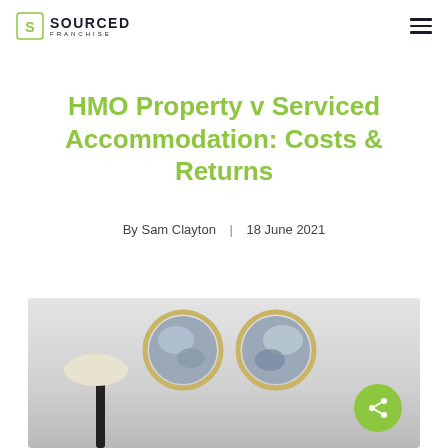SOURCED FRANCHISE
HMO Property v Serviced Accommodation: Costs & Returns
By Sam Clayton | 18 June 2021
[Figure (photo): Interior room photo with two circular framed artworks on a light grey wall and a floor lamp in the foreground]